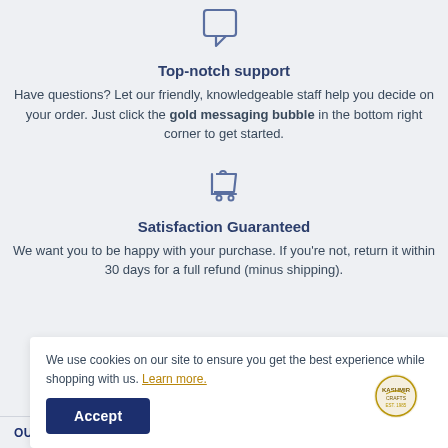[Figure (illustration): Chat/speech bubble icon, outlined in steel blue]
Top-notch support
Have questions? Let our friendly, knowledgeable staff help you decide on your order. Just click the gold messaging bubble in the bottom right corner to get started.
[Figure (illustration): Shopping cart with return arrow icon, outlined in steel blue]
Satisfaction Guaranteed
We want you to be happy with your purchase. If you're not, return it within 30 days for a full refund (minus shipping).
We use cookies on our site to ensure you get the best experience while shopping with us. Learn more.
Accept
OUR ADDRESS